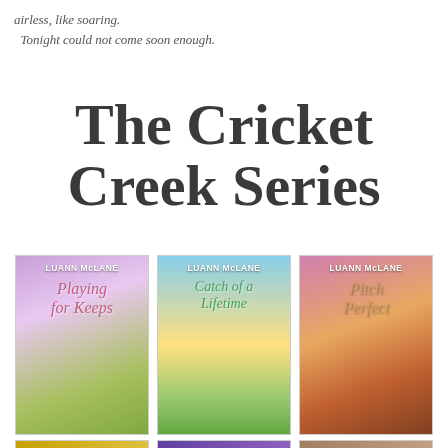airless, like soaring.
	Tonight could not come soon enough.
The Cricket Creek Series
[Figure (illustration): Three book covers for the Cricket Creek Series by LuAnn McLane: 'Playing for Keeps', 'Catch of a Lifetime', and 'Pitch Perfect', displayed side by side. Below them are partial views of three more book covers.]